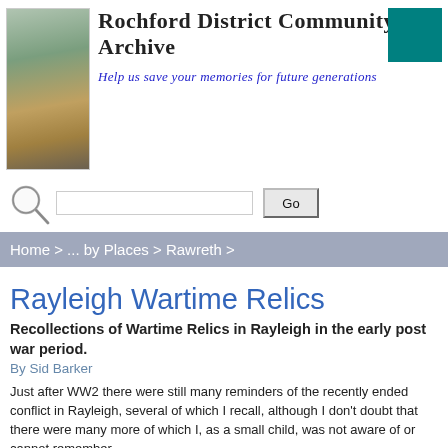Rochford District Community Archive
Help us save your memories for future generations
Rayleigh Wartime Relics
Recollections of Wartime Relics in Rayleigh in the early post war period.
By Sid Barker
Just after WW2 there were still many reminders of the recently ended conflict in Rayleigh, several of which I recall, although I don't doubt that there were many more of which I, as a small child, was not aware of or cannot remember.
The most obvious ones that come to mind were the two brick built air raid shelters on London Hill, where the rose beds are now. The entrances were blocked off with steel reinforcing mat. Proceeding down the hill on the same side, in what is now the front garden of no 34 was some type of spigot base